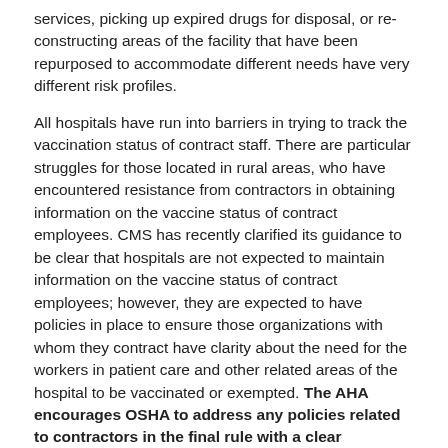services, picking up expired drugs for disposal, or re-constructing areas of the facility that have been repurposed to accommodate different needs have very different risk profiles.
All hospitals have run into barriers in trying to track the vaccination status of contract staff. There are particular struggles for those located in rural areas, who have encountered resistance from contractors in obtaining information on the vaccine status of contract employees. CMS has recently clarified its guidance to be clear that hospitals are not expected to maintain information on the vaccine status of contract employees; however, they are expected to have policies in place to ensure those organizations with whom they contract have clarity about the need for the workers in patient care and other related areas of the hospital to be vaccinated or exempted. The AHA encourages OSHA to address any policies related to contractors in the final rule with a clear understanding of the differences in risks and a realistic view of what such a requirement would mean for the contractors, many of which are national or regional in scope and serve a wide variety of hospitals.